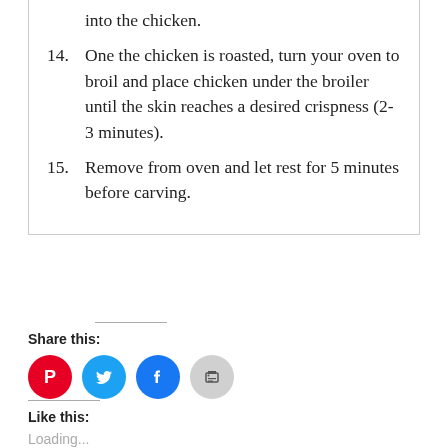into the chicken.
14. One the chicken is roasted, turn your oven to broil and place chicken under the broiler until the skin reaches a desired crispness (2-3 minutes).
15. Remove from oven and let rest for 5 minutes before carving.
Share this:
[Figure (infographic): Social sharing icons: Pinterest (red circle), Twitter (blue circle), Facebook (blue circle), Print (grey circle)]
Like this:
Loading...